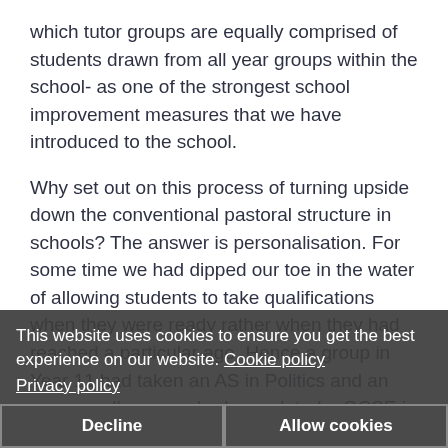which tutor groups are equally comprised of students drawn from all year groups within the school- as one of the strongest school improvement measures that we have introduced to the school.
Why set out on this process of turning upside down the conventional pastoral structure in schools? The answer is personalisation. For some time we had dipped our toe in the water of allowing students to take qualifications when they were ready rather when they had reached a particular age. Hence a group in Year 11 had taken an AS in Politics and an even smaller group had completed a GCSE in Latin during Year 9. We now felt ready to take the next step of the process.
Reports to other schools that had gone further down the personalisation road suggested that we were still missing something. How could we move away
This website uses cookies to ensure you get the best experience on our website. Cookie policy
Privacy policy